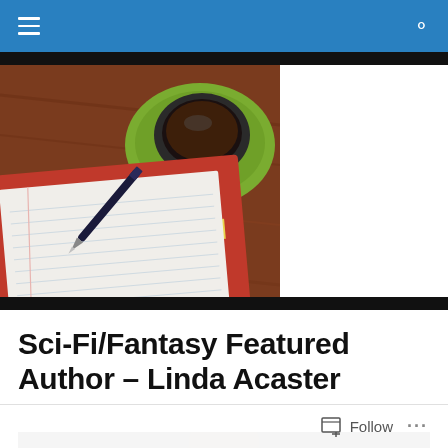Navigation bar with hamburger menu and search icon
[Figure (photo): Photo of an open notebook with a pen on a wooden table, with a green coffee cup on a saucer in the background]
Sci-Fi/Fantasy Featured Author – Linda Acaster
[Figure (photo): Partial photo of a person, cropped at bottom of page]
Follow ...